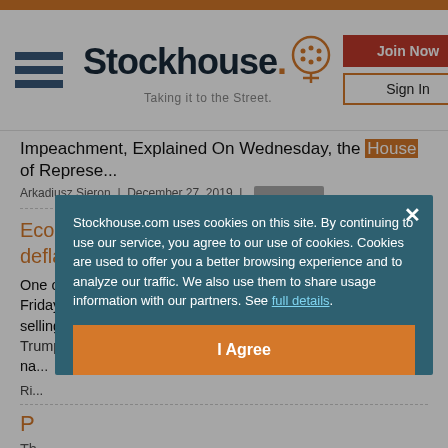Stockhouse. Taking it to the Street.
Impeachment, Explained On Wednesday, the House of Represe...
Arkadiusz Sieron | December 27, 2019 |
Economic stimulus can’t save US from deflation and recession
One of the worst weeks on Wall Street mercifully ended on Friday. S&P 500 DJIA Nasdaq After multiple sessions of panic selling, the markets managed to recover after US President Trump declared na...
Ri...
P...
Th... ar... th...
Stockhouse.com uses cookies on this site. By continuing to use our service, you agree to our use of cookies. Cookies are used to offer you a better browsing experience and to analyze our traffic. We also use them to share usage information with our partners. See full details.